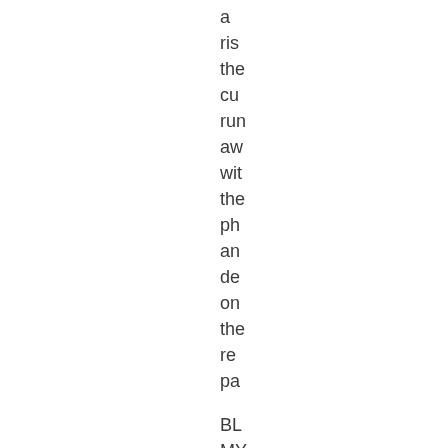a
ris
the
cu
run
aw
wit
the
ph
an
de
on
the
re
pa
BL
MY